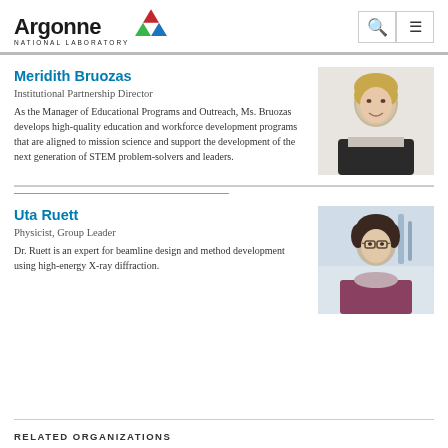Argonne National Laboratory
Meridith Bruozas
Institutional Partnership Director
As the Manager of Educational Programs and Outreach, Ms. Bruozas develops high-quality education and workforce development programs that are aligned to mission science and support the development of the next generation of STEM problem-solvers and leaders.
[Figure (photo): Portrait photo of Meridith Bruozas, a woman with short blonde hair wearing a dark jacket]
Uta Ruett
Physicist, Group Leader
Dr. Ruett is an expert for beamline design and method development using high-energy X-ray diffraction.
[Figure (photo): Portrait photo of Uta Ruett, a woman with dark hair wearing glasses and a purple top with scarf]
RELATED ORGANIZATIONS